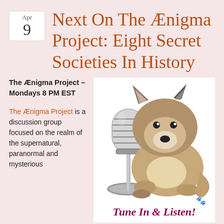Apr 9
Next On The Ænigma Project: Eight Secret Societies In History
The Ænigma Project – Mondays 8 PM EST
The Ænigma Project is a discussion group focused on the realm of the supernatural, paranormal and mysterious
[Figure (illustration): A stuffed wolf plush toy sitting next to a vintage silver microphone on a stand, with the text 'Tune In & Listen!' in cursive below, and small paw print icons.]